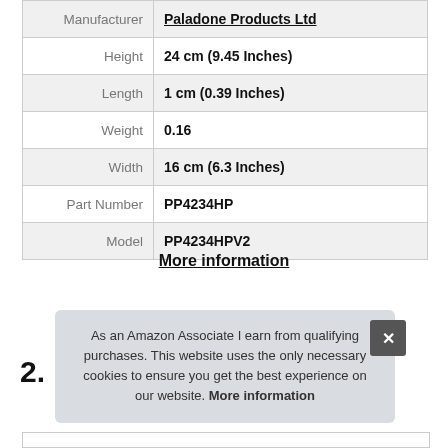| Attribute | Value |
| --- | --- |
| Manufacturer | Paladone Products Ltd |
| Height | 24 cm (9.45 Inches) |
| Length | 1 cm (0.39 Inches) |
| Weight | 0.16 |
| Width | 16 cm (6.3 Inches) |
| Part Number | PP4234HP |
| Model | PP4234HPV2 |
More information
As an Amazon Associate I earn from qualifying purchases. This website uses the only necessary cookies to ensure you get the best experience on our website. More information